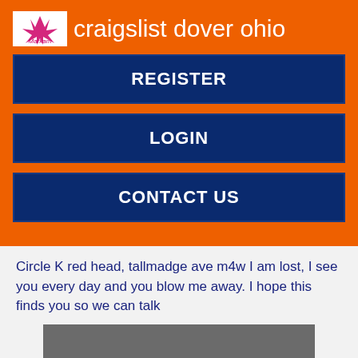craigslist dover ohio
REGISTER
LOGIN
CONTACT US
Circle K red head, tallmadge ave m4w I am lost, I see you every day and you blow me away. I hope this finds you so we can talk
[Figure (photo): Gray placeholder image box]